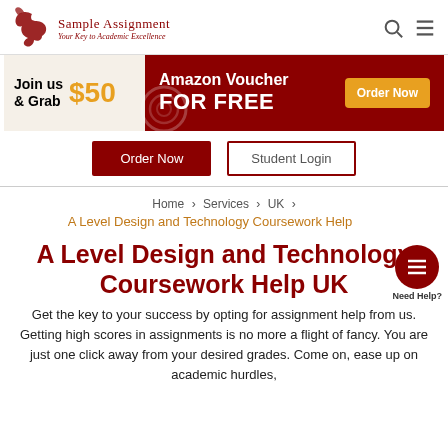[Figure (logo): Sample Assignment logo with bird icon, text 'Sample Assignment' and tagline 'Your Key to Academic Excellence']
[Figure (infographic): Promotional banner: Join us & Grab $50 Amazon Voucher FOR FREE with Order Now button]
Order Now
Student Login
Home › Services › UK ›
A Level Design and Technology Coursework Help
A Level Design and Technology Coursework Help UK
Get the key to your success by opting for assignment help from us. Getting high scores in assignments is no more a flight of fancy. You are just one click away from your desired grades. Come on, ease up on academic hurdles,